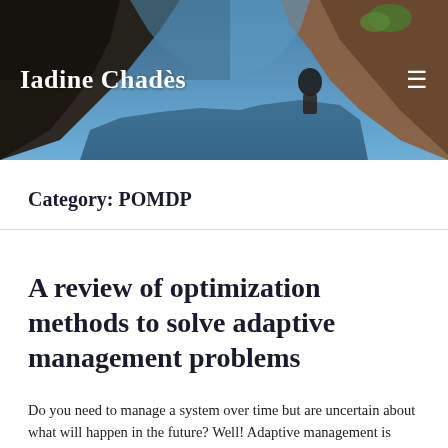[Figure (photo): Landscape photograph of rocky canyon cliffs with blue sky and water, serving as website header background]
Iadine Chadès
Category: POMDP
A review of optimization methods to solve adaptive management problems
Do you need to manage a system over time but are uncertain about what will happen in the future? Well! Adaptive management is about making the best